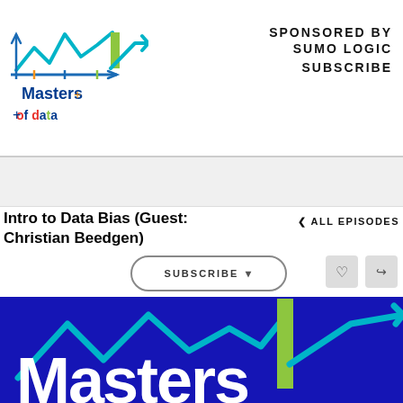[Figure (logo): Masters of Data podcast logo — stylized M shape with line chart motif in teal/green/yellow, text 'Masters of data' below]
SPONSORED BY
SUMO LOGIC
SUBSCRIBE
Intro to Data Bias (Guest: Christian Beedgen)
< ALL EPISODES
SUBSCRIBE
[Figure (illustration): Large blue banner with Masters of Data logo graphic — teal zigzag line chart, green vertical bar, teal arrow, large white 'Masters' text at bottom]